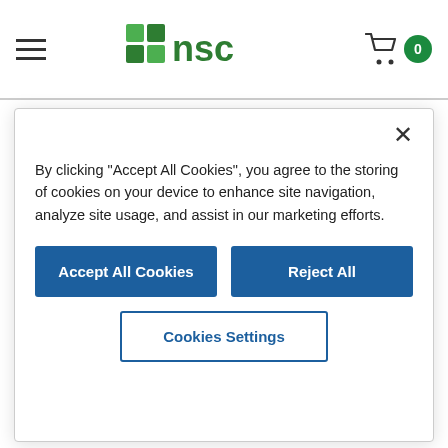NSC – National Safety Council (nav bar with hamburger menu, NSC logo, cart icon with badge 0)
benefit because they'll learn the essential skills they need to respond to and lessen the severity of life's everyday medical emergencies.
Participants will learn how to:
By clicking "Accept All Cookies", you agree to the storing of cookies on your device to enhance site navigation, analyze site usage, and assist in our marketing efforts.
Accept All Cookies | Reject All | Cookies Settings